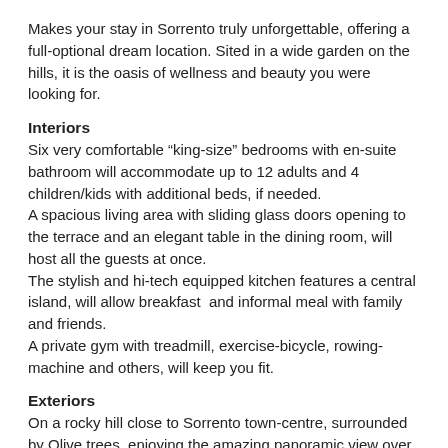Makes your stay in Sorrento truly unforgettable, offering a full-optional dream location. Sited in a wide garden on the hills, it is the oasis of wellness and beauty you were looking for.
Interiors
Six very comfortable “king-size” bedrooms with en-suite bathroom will accommodate up to 12 adults and 4 children/kids with additional beds, if needed.
A spacious living area with sliding glass doors opening to the terrace and an elegant table in the dining room, will host all the guests at once.
The stylish and hi-tech equipped kitchen features a central island, will allow breakfast and informal meal with family and friends.
A private gym with treadmill, exercise-bicycle, rowing-machine and others, will keep you fit.
Exteriors
On a rocky hill close to Sorrento town-centre, surrounded by Olive trees, enjoying the amazing panoramic view over the Bay of Naples dominated by the majestic Vesuvius. Peaceful, bright, spacious, private, elegant, minimal, luxurious, modern, comfortable, relaxing, beautiful Villa in Sorrento.
This is Villa Antonella...